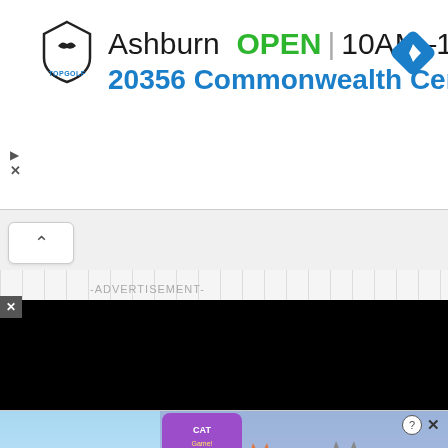[Figure (screenshot): Topgolf advertisement banner showing Ashburn location with OPEN status, hours 10AM-11PM, address 20356 Commonwealth Cen..., with navigation icon]
[Figure (screenshot): Collapse/chevron up button]
-ADVERTISEMENT-
[Figure (screenshot): Black video player area with circular play indicator and text: How To Open 7 Chakras - Meditation and Healing - SunSigns.Org]
[Figure (screenshot): Cat Game mobile app advertisement with cartoon cats and 'ADOPT A CAT NOW' orange banner]